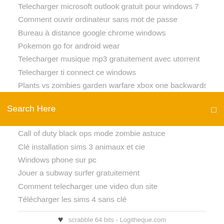Telecharger microsoft outlook gratuit pour windows 7
Comment ouvrir ordinateur sans mot de passe
Bureau à distance google chrome windows
Pokemon go for android wear
Telecharger musique mp3 gratuitement avec utorrent
Telecharger ti connect ce windows
Plants vs zombies garden warfare xbox one backwards
Search Here
Call of duty black ops mode zombie astuce
Clé installation sims 3 animaux et cie
Windows phone sur pc
Jouer a subway surfer gratuitement
Comment telecharger une video dun site
Télécharger les sims 4 sans clé
scrabble 64 bits - Logitheque.com